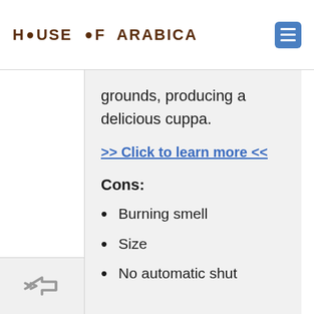HOUSE OF ARABICA
grounds, producing a delicious cuppa.
>> Click to learn more <<
Cons:
Burning smell
Size
No automatic shut